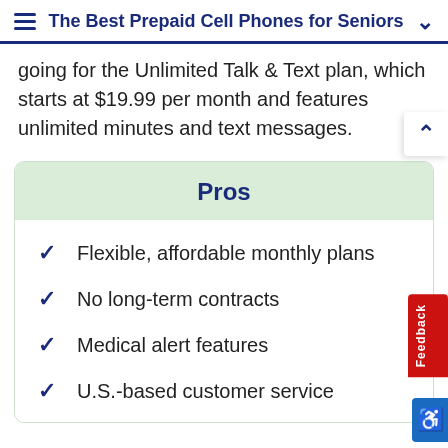The Best Prepaid Cell Phones for Seniors
going for the Unlimited Talk & Text plan, which starts at $19.99 per month and features unlimited minutes and text messages.
Pros
Flexible, affordable monthly plans
No long-term contracts
Medical alert features
U.S.-based customer service